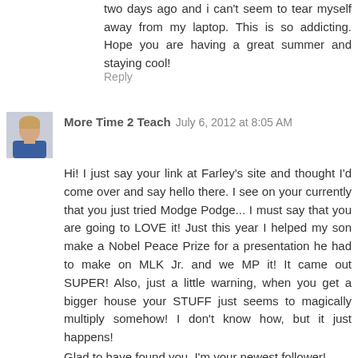two days ago and i can't seem to tear myself away from my laptop. This is so addicting. Hope you are having a great summer and staying cool!
Reply
More Time 2 Teach  July 6, 2012 at 8:05 AM
Hi! I just say your link at Farley's site and thought I'd come over and say hello there. I see on your currently that you just tried Modge Podge... I must say that you are going to LOVE it! Just this year I helped my son make a Nobel Peace Prize for a presentation he had to make on MLK Jr. and we MP it! It came out SUPER! Also, just a little warning, when you get a bigger house your STUFF just seems to magically multiply somehow! I don't know how, but it just happens!
Glad to have found you. I'm your newest follower!
:0) Melissa
More Time 2 Teach
Reply